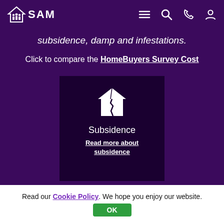SAM — navigation bar with logo and icons (menu, search, phone, account)
subsidence, damp and infestations.
Click to compare the HomeBuyers Survey Cost
[Figure (illustration): Dark card showing a white cracked house icon with the label 'Subsidence' and a link 'Read more about subsidence']
Read our Cookie Policy. We hope you enjoy our website.
OK